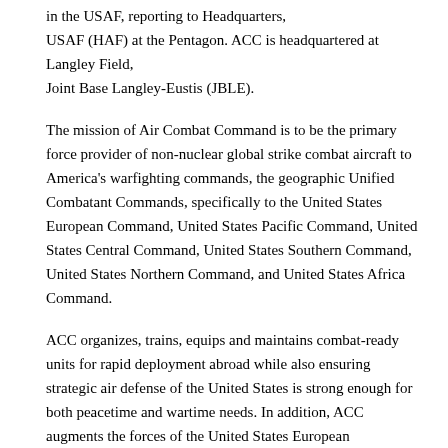in the USAF, reporting to Headquarters, USAF (HAF) at the Pentagon. ACC is headquartered at Langley Field, Joint Base Langley-Eustis (JBLE).
The mission of Air Combat Command is to be the primary force provider of non-nuclear global strike combat aircraft to America's warfighting commands, the geographic Unified Combatant Commands, specifically to the United States European Command, United States Pacific Command, United States Central Command, United States Southern Command, United States Northern Command, and United States Africa Command.
ACC organizes, trains, equips and maintains combat-ready units for rapid deployment abroad while also ensuring strategic air defense of the United States is strong enough for both peacetime and wartime needs. In addition, ACC augments the forces of the United States European Command, United States Pacific Command and United States Central Command when needed. ACC operates fighter, attack, reconnaissance, combat search and rescue, air battle management and electronic combat aircraft along with command, control, computing, communications and intelligence (C4I)